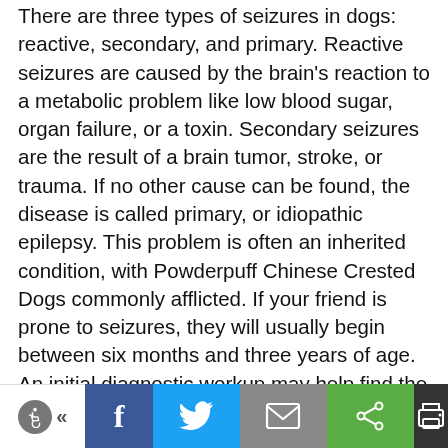There are three types of seizures in dogs: reactive, secondary, and primary. Reactive seizures are caused by the brain's reaction to a metabolic problem like low blood sugar, organ failure, or a toxin. Secondary seizures are the result of a brain tumor, stroke, or trauma. If no other cause can be found, the disease is called primary, or idiopathic epilepsy. This problem is often an inherited condition, with Powderpuff Chinese Crested Dogs commonly afflicted. If your friend is prone to seizures, they will usually begin between six months and three years of age. An initial diagnostic workup may help find the cause. Lifelong medication is usually necessary to help keep seizures under control, with periodic blood testing required
Accessibility | Facebook | Twitter | Email | Share | Print